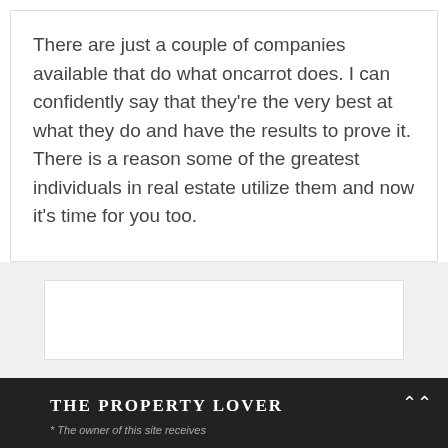There are just a couple of companies available that do what oncarrot does. I can confidently say that they're the very best at what they do and have the results to prove it. There is a reason some of the greatest individuals in real estate utilize them and now it's time for you too.
[Figure (other): Empty white advertisement box placeholder]
THE PROPERTY LOVER
* The owner of this site receives